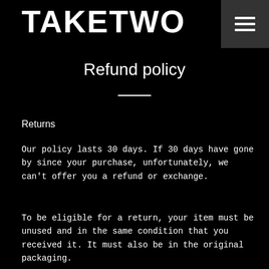TAKETWO
Refund policy
Returns
Our policy lasts 30 days. If 30 days have gone by since your purchase, unfortunately, we can't offer you a refund or exchange.
To be eligible for a return, your item must be unused and in the same condition that you received it. It must also be in the original packaging.